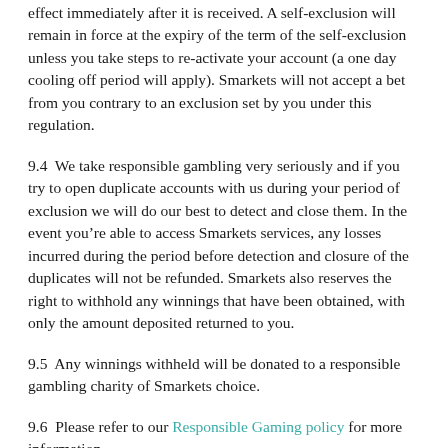effect immediately after it is received. A self-exclusion will remain in force at the expiry of the term of the self-exclusion unless you take steps to re-activate your account (a one day cooling off period will apply). Smarkets will not accept a bet from you contrary to an exclusion set by you under this regulation.
9.4  We take responsible gambling very seriously and if you try to open duplicate accounts with us during your period of exclusion we will do our best to detect and close them. In the event you’re able to access Smarkets services, any losses incurred during the period before detection and closure of the duplicates will not be refunded. Smarkets also reserves the right to withhold any winnings that have been obtained, with only the amount deposited returned to you.
9.5  Any winnings withheld will be donated to a responsible gambling charity of Smarkets choice.
9.6  Please refer to our Responsible Gaming policy for more information.
10. Copyrights